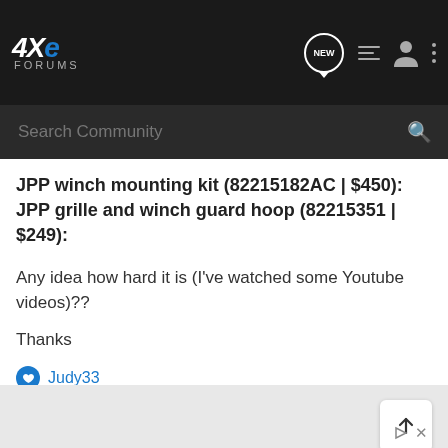[Figure (screenshot): 4XE Forums navigation bar with logo, NEW button, list icon, user icon, and three-dot menu icon]
[Figure (screenshot): Search Community search bar with magnifying glass icon]
JPP winch mounting kit (82215182AC | $450): JPP grille and winch guard hoop (82215351 | $249):
Any idea how hard it is (I've watched some Youtube videos)??
Thanks
Judy33
[Figure (screenshot): Scroll to top button and ad icons at bottom of page]